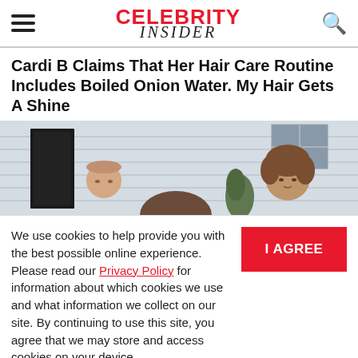CELEBRITY INSIDER
Cardi B Claims That Her Hair Care Routine Includes Boiled Onion Water. My Hair Gets A Shine
[Figure (photo): Outdoor photo of two older people standing in front of a white clapboard house. An elderly bald man on the left and a woman with brown hair on the right, with a younger person's head visible in the center foreground.]
We use cookies to help provide you with the best possible online experience. Please read our Privacy Policy for information about which cookies we use and what information we collect on our site. By continuing to use this site, you agree that we may store and access cookies on your device.